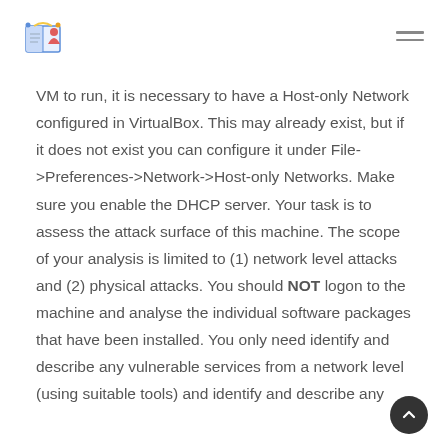VM to run, it is necessary to have a Host-only Network configured in VirtualBox. This may already exist, but if it does not exist you can configure it under File->Preferences->Network->Host-only Networks. Make sure you enable the DHCP server. Your task is to assess the attack surface of this machine. The scope of your analysis is limited to (1) network level attacks and (2) physical attacks. You should NOT logon to the machine and analyse the individual software packages that have been installed. You only need identify and describe any vulnerable services from a network level (using suitable tools) and identify and describe any